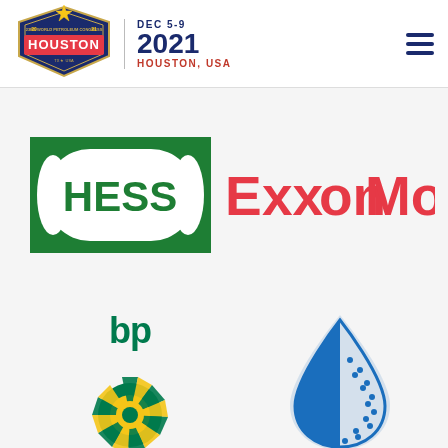[Figure (logo): 23rd World Petroleum Congress Houston 2021 header logo with navigation menu icon]
[Figure (logo): Hess corporation logo - green square with white oval containing HESS text]
[Figure (logo): ExxonMobil logo in red text with double X]
[Figure (logo): BP logo - green and yellow sunflower emblem with bp text]
[Figure (logo): Blue water drop logo with dotted pattern]